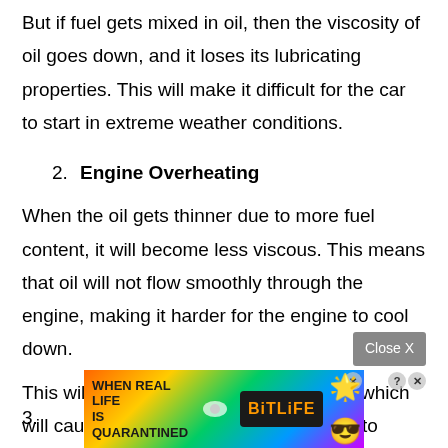But if fuel gets mixed in oil, then the viscosity of oil goes down, and it loses its lubricating properties. This will make it difficult for the car to start in extreme weather conditions.
2. Engine Overheating
When the oil gets thinner due to more fuel content, it will become less viscous. This means that oil will not flow smoothly through the engine, making it harder for the engine to cool down.
This will lead to the engine overheating, which will cause severe damage and give way to many problems, like a blown gasket.
[Figure (other): Advertisement banner for BitLife mobile game showing colorful gradient background with text WHEN REAL LIFE IS QUARANTINED and BitLife logo with emoji icons]
3.